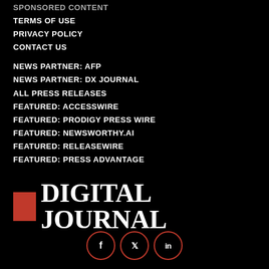SPONSORED CONTENT
TERMS OF USE
PRIVACY POLICY
CONTACT US
NEWS PARTNER: AFP
NEWS PARTNER: DX JOURNAL
ALL PRESS RELEASES
FEATURED: ACCESSWIRE
FEATURED: PRODIGY PRESS WIRE
FEATURED: NEWSWORTHY.AI
FEATURED: RELEASEWIRE
FEATURED: PRESS ADVANTAGE
[Figure (logo): Digital Journal logo with red square and white text]
[Figure (infographic): Social media icons: Facebook, Twitter, LinkedIn — red circle borders on black background]